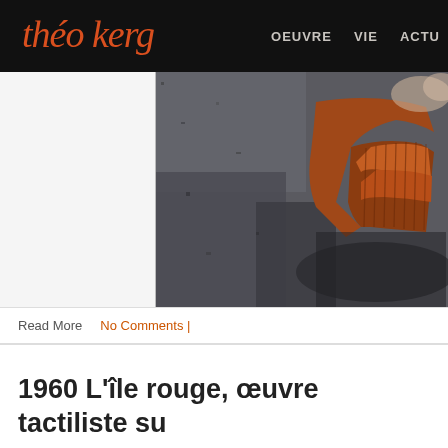Théo Kerg — OEUVRE VIE ACTU
[Figure (photo): Close-up of an abstract tactiliste painting showing textured surface in burnt orange, rust brown, and dark grey tones — detail of artwork by Théo Kerg.]
Read More   No Comments |
1960 L'île rouge, œuvre tactiliste su
62 x 38 cm